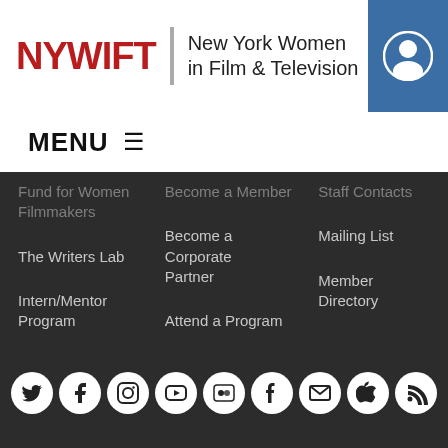[Figure (logo): NYWIFT logo with text 'New York Women in Film & Television' and user icon in blue box]
MENU ≡
Fund for Women Filmmakers
Become a Member
Staff Contacts
The Writers Lab
Become a Corporate Partner
Mailing List
Intern/Mentor Program
Attend a Program
Member Directory
Scholarships
Donate
[Figure (infographic): Row of 9 social media icons (Twitter, Facebook, Instagram, YouTube, Flickr, Tumblr, Email, Apple, RSS) as white circles on dark background]